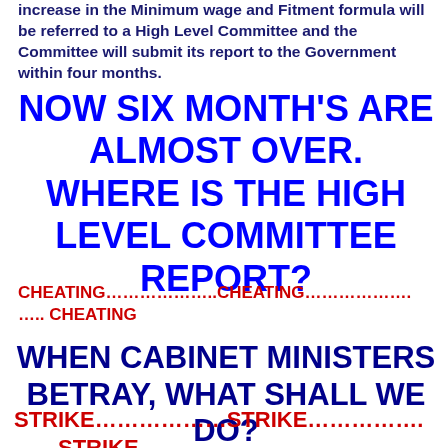increase in the Minimum wage and Fitment formula will be referred to a High Level Committee and the Committee will submit its report to the Government within four months.
NOW SIX MONTH'S ARE ALMOST OVER. WHERE IS THE HIGH LEVEL COMMITTEE REPORT?
CHEATING………………..CHEATING………………. ….. CHEATING
WHEN CABINET MINISTERS BETRAY, WHAT SHALL WE DO?
STRIKE………………STRIKE……………. ……STRIKE